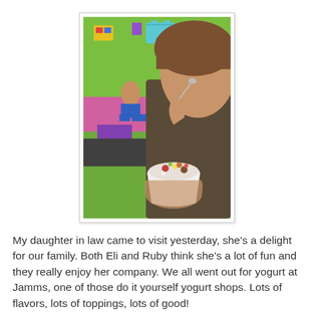[Figure (photo): A child eating yogurt from a cup with a spoon, in a colorful yogurt shop. The background shows green walls, a teal t-shirt hanging on the wall, and other people seated in the shop.]
My daughter in law came to visit yesterday, she's a delight for our family. Both Eli and Ruby think she's a lot of fun and they really enjoy her company. We all went out for yogurt at Jamms, one of those do it yourself yogurt shops. Lots of flavors, lots of toppings, lots of good!